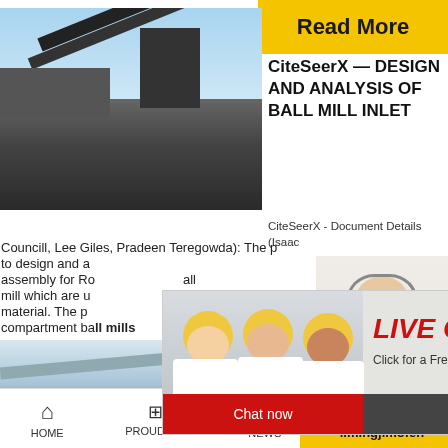[Figure (photo): Industrial ball mill / crushing machinery outdoor photo]
[Figure (photo): Yellow Read More banner top right]
CiteSeerX — DESIGN AND ANALYSIS OF BALL MILL INLET
CiteSeerX - Document Details (Isaac
Councill, Lee Giles, Pradeen Teregowda): The p... to design and a... assembly for Ro... all mill which are u... material. The p... compartment ball mills
[Figure (photo): Live Chat popup with construction workers and customer service rep]
[Figure (photo): 24Hrs Online red banner with customer service agent]
[Figure (photo): Bottom left mining/quarry landscape photo]
Energy
Need questions & suggestion?
Chat Now
Enquiry
limingjlmofen
HOME   PROUDCTS   NEWS